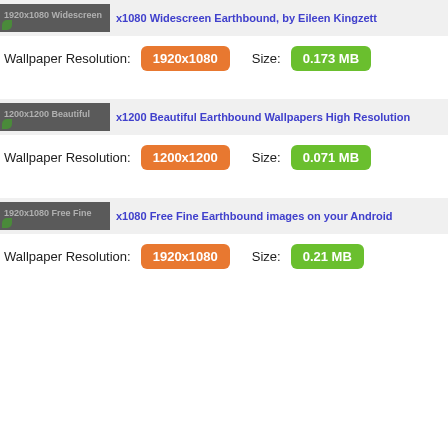[Figure (screenshot): Thumbnail of 1920x1080 Widescreen Earthbound wallpaper by Eileen Kingzett with dark gray preview image]
1920x1080 Widescreen Earthbound, by Eileen Kingzett
Wallpaper Resolution: 1920x1080   Size: 0.173 MB
[Figure (screenshot): Thumbnail of 1200x1200 Beautiful Earthbound Wallpapers High Resolution]
1200x1200 Beautiful Earthbound Wallpapers High Resolution
Wallpaper Resolution: 1200x1200   Size: 0.071 MB
[Figure (screenshot): Thumbnail of 1920x1080 Free Fine Earthbound images on your Android]
1920x1080 Free Fine Earthbound images on your Android
Wallpaper Resolution: 1920x1080   Size: 0.21 MB